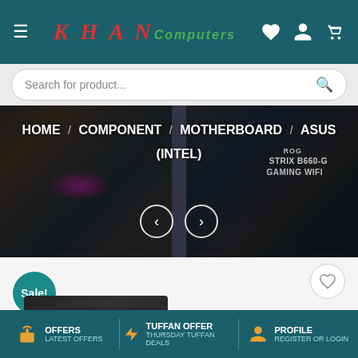[Figure (screenshot): Khan Computers e-commerce website header with teal background, KHAN Computers logo in red/green italic text, hamburger menu icon, heart/user/cart icons]
[Figure (screenshot): Search bar with rounded input field showing placeholder 'Search for product...' and search icon]
[Figure (screenshot): Dark motherboard banner image with breadcrumb navigation: HOME / COMPONENT / MOTHERBOARD / ASUS (INTEL), with left/right carousel arrows and ROG STRIX B660-G GAMING WIFI text]
[Figure (screenshot): Product listing area with teal Sale! badge circle, wishlist heart button, and partial motherboard product image]
[Figure (screenshot): Teal footer bar with three sections: OFFERS / LATEST OFFERS (gift icon, orange), TUFFAN OFFER / THURSDAY TUFFAN DEALS (lightning bolt icon, orange), PROFILE / REGISTER OR LOGIN (person icon, orange)]